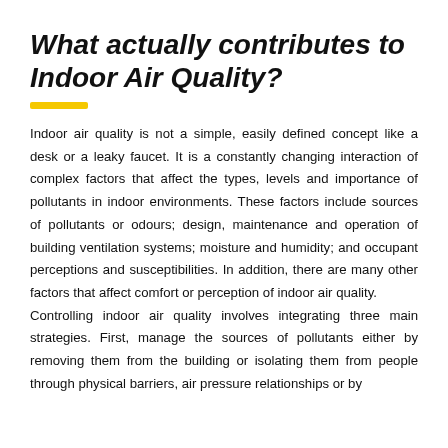What actually contributes to Indoor Air Quality?
Indoor air quality is not a simple, easily defined concept like a desk or a leaky faucet. It is a constantly changing interaction of complex factors that affect the types, levels and importance of pollutants in indoor environments. These factors include sources of pollutants or odours; design, maintenance and operation of building ventilation systems; moisture and humidity; and occupant perceptions and susceptibilities. In addition, there are many other factors that affect comfort or perception of indoor air quality.
Controlling indoor air quality involves integrating three main strategies. First, manage the sources of pollutants either by removing them from the building or isolating them from people through physical barriers, air pressure relationships or by